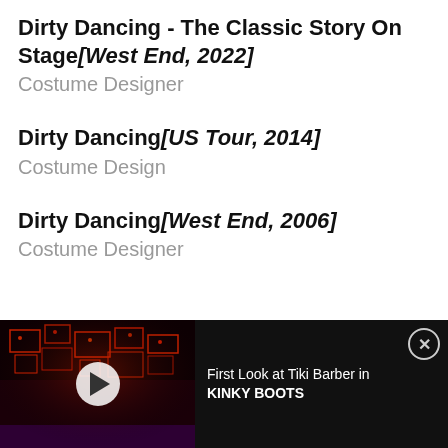Dirty Dancing - The Classic Story On Stage[West End, 2022]
Costume Designer
Dirty Dancing[US Tour, 2014]
Costume Design
Dirty Dancing[West End, 2006]
Costume Designer
[Figure (screenshot): Video advertisement banner with a dark stage photo thumbnail showing red lighting and a play button, with text 'First Look at Tiki Barber in KINKY BOOTS' and a close button.]